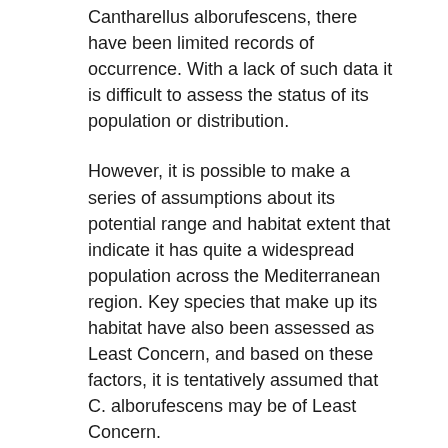Cantharellus alborufescens, there have been limited records of occurrence. With a lack of such data it is difficult to assess the status of its population or distribution.
However, it is possible to make a series of assumptions about its potential range and habitat extent that indicate it has quite a widespread population across the Mediterranean region. Key species that make up its habitat have also been assessed as Least Concern, and based on these factors, it is tentatively assumed that C. alborufescens may be of Least Concern.
Taxonomic notes
Described by Malençon as Cantharellus cibarius var. alborufescens in 1975 and as C. alborufescens by Papetti & S. Alberti in 1999.